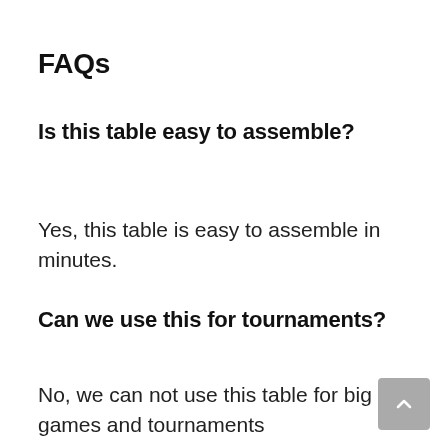FAQs
Is this table easy to assemble?
Yes, this table is easy to assemble in minutes.
Can we use this for tournaments?
No, we can not use this table for big games and tournaments